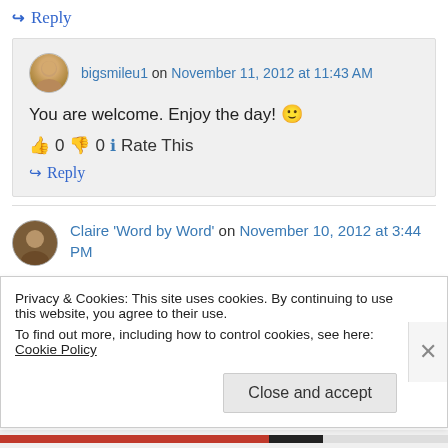↪ Reply
bigsmileu1 on November 11, 2012 at 11:43 AM
You are welcome. Enjoy the day! 🙂
👍 0 👎 0 ℹ Rate This
↪ Reply
Claire 'Word by Word' on November 10, 2012 at 3:44 PM
Privacy & Cookies: This site uses cookies. By continuing to use this website, you agree to their use. To find out more, including how to control cookies, see here: Cookie Policy
Close and accept